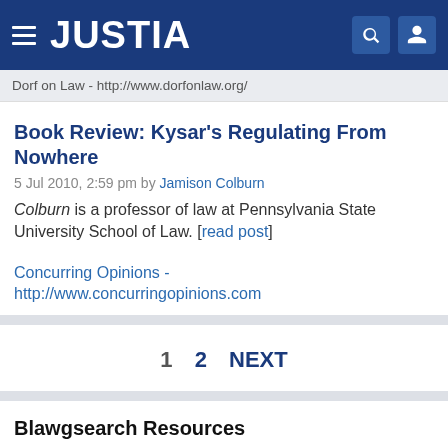JUSTIA
Dorf on Law - http://www.dorfonlaw.org/
Book Review: Kysar's Regulating From Nowhere
5 Jul 2010, 2:59 pm by Jamison Colburn
Colburn is a professor of law at Pennsylvania State University School of Law. [read post]
Concurring Opinions - http://www.concurringopinions.com
1  2  NEXT
Blawgsearch Resources